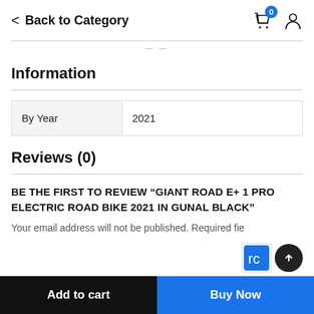< Back to Category
Information
| By Year | 2021 |
| --- | --- |
| By Year | 2021 |
Reviews (0)
BE THE FIRST TO REVIEW “GIANT ROAD E+ 1 PRO ELECTRIC ROAD BIKE 2021 IN GUNAL BLACK”
Your email address will not be published. Required fie
Add to cart | Buy Now